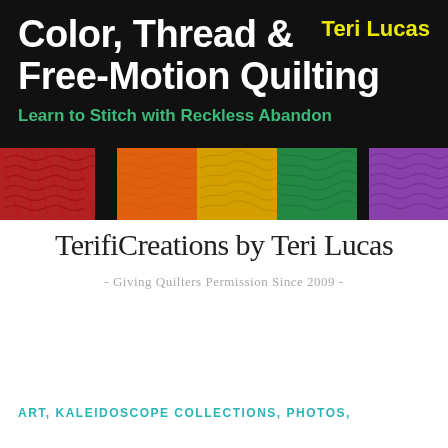[Figure (illustration): Book cover banner for 'Color, Thread & Free-Motion Quilting' by Teri Lucas with subtitle 'Learn to Stitch with Reckless Abandon', black background with colorful quilted fabric swatches strip]
TerifiCreations by Teri Lucas
- Giving Quilters Permission Since 2009 -
≡ MENU
ART, KALEIDOSCOPE COLLECTIONS, PHOTOS,